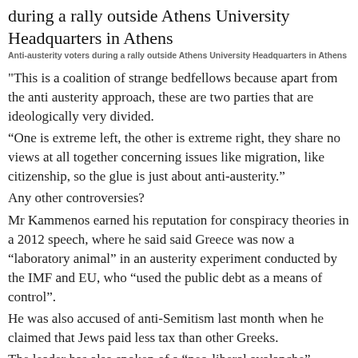during a rally outside Athens University Headquarters in Athens
Anti-austerity voters during a rally outside Athens University Headquarters in Athens
"This is a coalition of strange bedfellows because apart from the anti austerity approach, these are two parties that are ideologically very divided.
“One is extreme left, the other is extreme right, they share no views at all together concerning issues like migration, like citizenship, so the glue is just about anti-austerity.”
Any other controversies?
Mr Kammenos earned his reputation for conspiracy theories in a 2012 speech, where he said said Greece was now a “laboratory animal” in an austerity experiment conducted by the IMF and EU, who “used the public debt as a means of control”.
He was also accused of anti-Semitism last month when he claimed that Jews paid less tax than other Greeks.
The leader has also spoken of a “neo-liberal avalanche” wiping out Greece’s economy and pride.